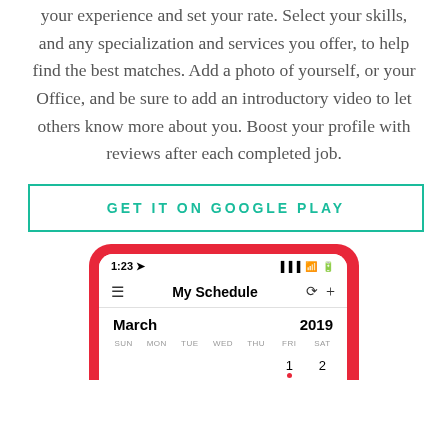your experience and set your rate. Select your skills, and any specialization and services you offer, to help find the best matches. Add a photo of yourself, or your Office, and be sure to add an introductory video to let others know more about you. Boost your profile with reviews after each completed job.
[Figure (other): Button with teal border and text 'GET IT ON GOOGLE PLAY' in teal uppercase letters on white background]
[Figure (screenshot): Mobile app screenshot showing 'My Schedule' screen with a calendar for March 2019. Status bar shows 1:23, signal bars, wifi and battery icons. Calendar shows days SUN through SAT with dates 1 and 2 visible in the FRI and SAT columns, with a red dot under 1.]